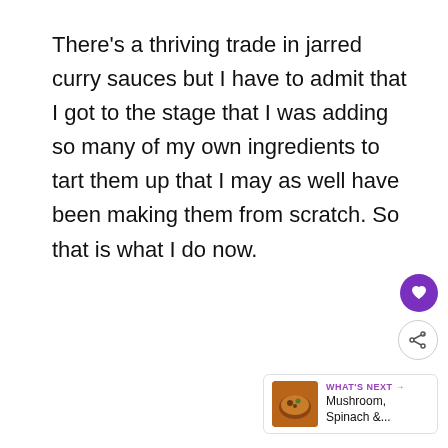There's a thriving trade in jarred curry sauces but I have to admit that I got to the stage that I was adding so many of my own ingredients to tart them up that I may as well have been making them from scratch. So that is what I do now.
[Figure (infographic): Advertisement banner with Ukrainian flag (blue and yellow) and text 'We Stand With You']